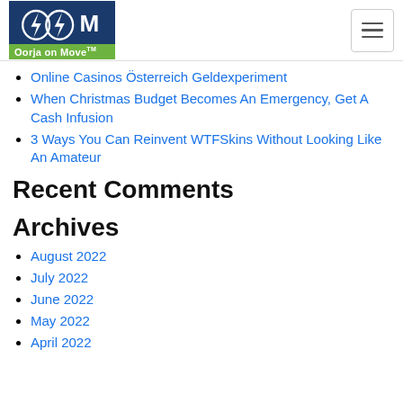Oorja on Move™ [logo] [hamburger menu]
Online Casinos Österreich Geldexperiment
When Christmas Budget Becomes An Emergency, Get A Cash Infusion
3 Ways You Can Reinvent WTFSkins Without Looking Like An Amateur
Recent Comments
Archives
August 2022
July 2022
June 2022
May 2022
April 2022